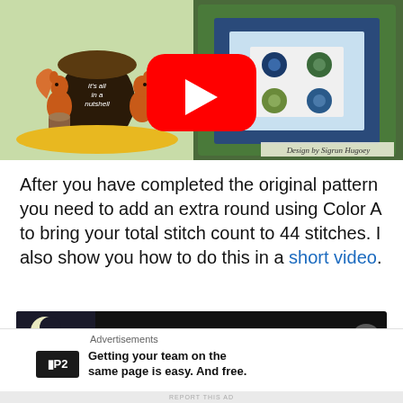[Figure (screenshot): YouTube video thumbnail showing a crochet granny square design on the right half and a squirrel/acorn illustration with 'it's all in a nutshell' text on the left half. A red YouTube play button is centered. Bottom right shows 'Design by Sigrun Hugoey'.]
After you have completed the original pattern you need to add an extra round using Color A to bring your total stitch count to 44 stitches. I also show you how to do this in a short video.
[Figure (screenshot): Embedded YouTube video preview with dark background showing 'Nuts about Squares CAL Week 4 - ...' title with a logo of a squirrel on the left and a close button (X) on the right.]
Advertisements
[Figure (logo): P2 advertisement logo - black square with white 'P2' text]
Getting your team on the same page is easy. And free.